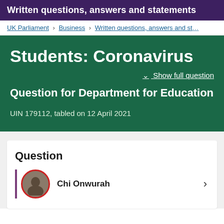Written questions, answers and statements
UK Parliament > Business > Written questions, answers and st...
Students: Coronavirus
Show full question
Question for Department for Education
UIN 179112, tabled on 12 April 2021
Question
Chi Onwurah